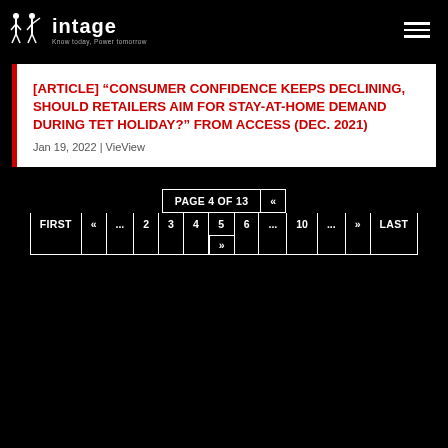intage — Know today, Power tomorrow
[ARTICLE] “CONSUMER CONFIDENCE KEEPS DECLINING, SHOULD RETAILERS AIM FOR STAY-AT-HOME DEMAND DURING TET HOLIDAY?” FROM ACCESS (DEC. 2021)
Jan 19, 2022 | VieView
PAGE 4 OF 13 « FIRST « ... 2 3 4 5 6 ... 10 ... » LAST »